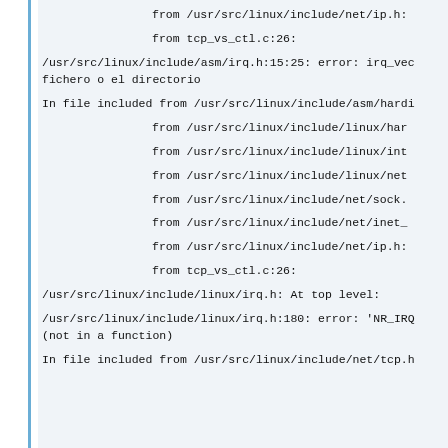from /usr/src/linux/include/net/ip.h:
from tcp_vs_ctl.c:26:
/usr/src/linux/include/asm/irq.h:15:25: error: irq_vec fichero o el directorio
In file included from /usr/src/linux/include/asm/hardi
from /usr/src/linux/include/linux/har
from /usr/src/linux/include/linux/int
from /usr/src/linux/include/linux/net
from /usr/src/linux/include/net/sock.
from /usr/src/linux/include/net/inet_
from /usr/src/linux/include/net/ip.h:
from tcp_vs_ctl.c:26:
/usr/src/linux/include/linux/irq.h: At top level:
/usr/src/linux/include/linux/irq.h:180: error: 'NR_IRQ (not in a function)
In file included from /usr/src/linux/include/net/tcp.h